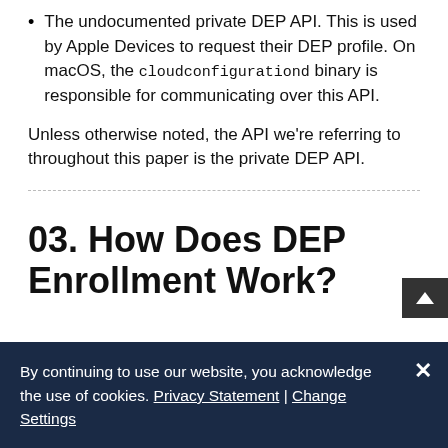The undocumented private DEP API. This is used by Apple Devices to request their DEP profile. On macOS, the cloudconfigurationd binary is responsible for communicating over this API.
Unless otherwise noted, the API we're referring to throughout this paper is the private DEP API.
03. How Does DEP Enrollment Work?
By continuing to use our website, you acknowledge the use of cookies. Privacy Statement | Change Settings